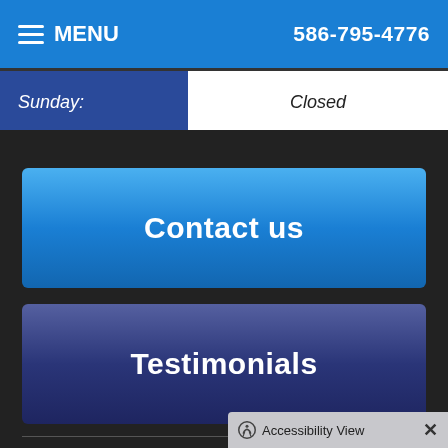MENU   586-795-4776
| Day | Hours |
| --- | --- |
| Sunday: | Closed |
Contact us
Testimonials
[Figure (logo): RSS feed icon in white rounded square]
Copyright © 2022 MH Sub I, LLC dba Officite.   |   Admin Log In   |   Site Map
Accessibility View